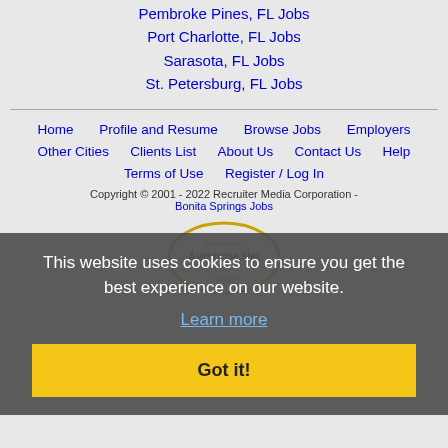Pembroke Pines, FL Jobs
Port Charlotte, FL Jobs
Sarasota, FL Jobs
St. Petersburg, FL Jobs
Home | Profile and Resume | Browse Jobs | Employers | Other Cities | Clients List | About Us | Contact Us | Help | Terms of Use | Register / Log In
Copyright © 2001 - 2022 Recruiter Media Corporation - Bonita Springs Jobs
This website uses cookies to ensure you get the best experience on our website.
Learn more
Got it!